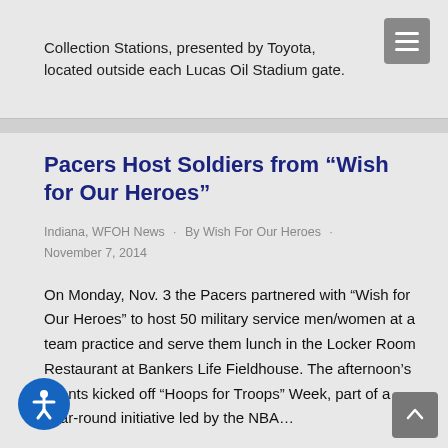Collection Stations, presented by Toyota, located outside each Lucas Oil Stadium gate.
Pacers Host Soldiers from “Wish for Our Heroes”
Indiana, WFOH News · By Wish For Our Heroes · November 7, 2014
On Monday, Nov. 3 the Pacers partnered with “Wish for Our Heroes” to host 50 military service men/women at a team practice and serve them lunch in the Locker Room Restaurant at Bankers Life Fieldhouse. The afternoon’s events kicked off “Hoops for Troops” Week, part of a year-round initiative led by the NBA…